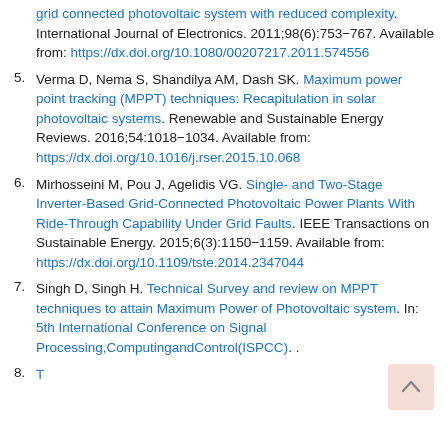grid connected photovoltaic system with reduced complexity. International Journal of Electronics. 2011;98(6):753–767. Available from: https://dx.doi.org/10.1080/00207217.2011.574556
5. Verma D, Nema S, Shandilya AM, Dash SK. Maximum power point tracking (MPPT) techniques: Recapitulation in solar photovoltaic systems. Renewable and Sustainable Energy Reviews. 2016;54:1018–1034. Available from: https://dx.doi.org/10.1016/j.rser.2015.10.068
6. Mirhosseini M, Pou J, Agelidis VG. Single- and Two-Stage Inverter-Based Grid-Connected Photovoltaic Power Plants With Ride-Through Capability Under Grid Faults. IEEE Transactions on Sustainable Energy. 2015;6(3):1150–1159. Available from: https://dx.doi.org/10.1109/tste.2014.2347044
7. Singh D, Singh H. Technical Survey and review on MPPT techniques to attain Maximum Power of Photovoltaic system. In: 5th International Conference on Signal Processing,ComputingandControl(ISPCC). .